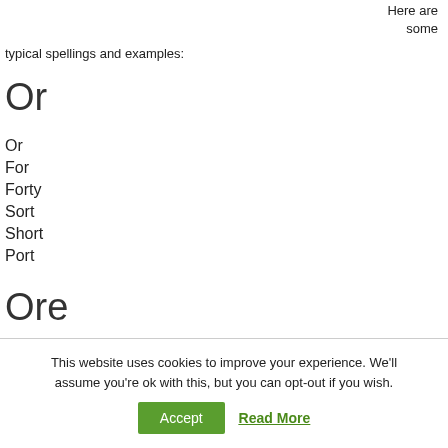Here are some typical spellings and examples:
Or
Or
For
Forty
Sort
Short
Port
Ore
This website uses cookies to improve your experience. We'll assume you're ok with this, but you can opt-out if you wish.
Accept
Read More